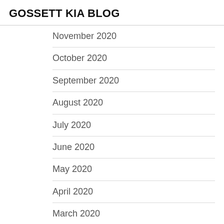GOSSETT KIA BLOG
November 2020
October 2020
September 2020
August 2020
July 2020
June 2020
May 2020
April 2020
March 2020
February 2020